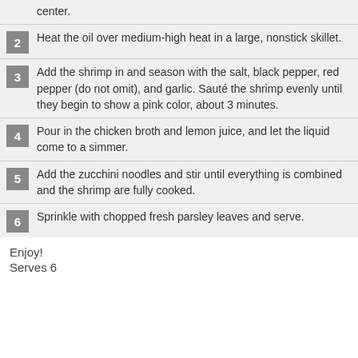center.
2 Heat the oil over medium-high heat in a large, nonstick skillet.
3 Add the shrimp in and season with the salt, black pepper, red pepper (do not omit), and garlic. Sauté the shrimp evenly until they begin to show a pink color, about 3 minutes.
4 Pour in the chicken broth and lemon juice, and let the liquid come to a simmer.
5 Add the zucchini noodles and stir until everything is combined and the shrimp are fully cooked.
6 Sprinkle with chopped fresh parsley leaves and serve.
Enjoy!
Serves 6